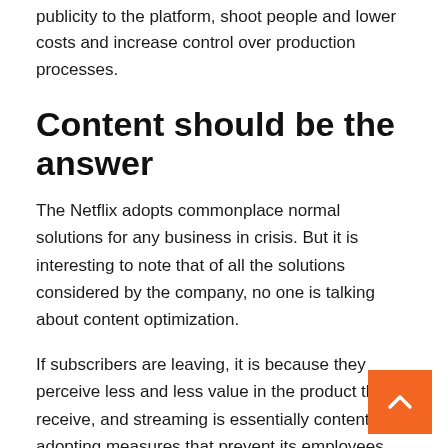publicity to the platform, shoot people and lower costs and increase control over production processes.
Content should be the answer
The Netflix adopts commonplace normal solutions for any business in crisis. But it is interesting to note that of all the solutions considered by the company, no one is talking about content optimization.
If subscribers are leaving, it is because they perceive less and less value in the product they receive, and streaming is essentially content. By adopting measures that prevent its employees from complaining about what they produce, Netflix is shooting itself.
A Netflix spokesperson said employees have been given an opportunity to provide feedback on the company's new cultural guidelines. He said the